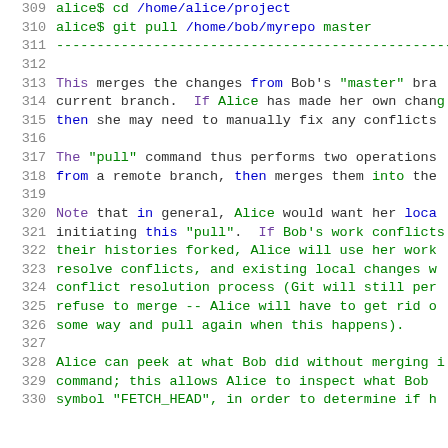309 alice$ cd /home/alice/project
310 alice$ git pull /home/bob/myrepo master
311 -----------------------------------------------
312
313 This merges the changes from Bob's "master" branch into Alice's current branch. If Alice has made her own changes, then she may need to manually fix any conflicts
317 The "pull" command thus performs two operations: it fetches from a remote branch, then merges them into the current branch.
320 Note that in general, Alice would want her local repo committed before initiating this "pull". If Bob's work conflicts with Alice's work, their histories forked, Alice will use her working tree to resolve conflicts, and existing local changes will interfere with the conflict resolution process (Git will still perform the fetch but refuse to merge -- Alice will have to get rid of the changes in some way and pull again when this happens).
328 Alice can peek at what Bob did without merging it, using the fetch command; this allows Alice to inspect what Bob did, via the special symbol "FETCH_HEAD", in order to determine if h...